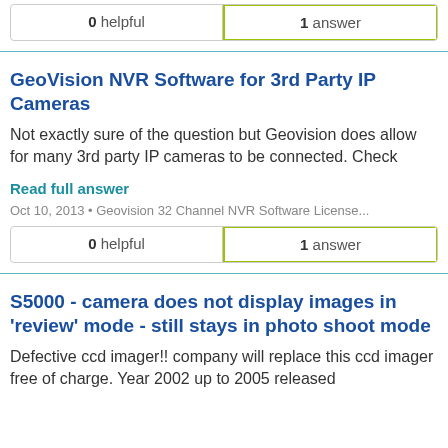0 helpful | 1 answer
GeoVision NVR Software for 3rd Party IP Cameras
Not exactly sure of the question but Geovision does allow for many 3rd party IP cameras to be connected. Check
Read full answer
Oct 10, 2013 • Geovision 32 Channel NVR Software License...
0 helpful | 1 answer
S5000 - camera does not display images in 'review' mode - still stays in photo shoot mode
Defective ccd imager!! company will replace this ccd imager free of charge. Year 2002 up to 2005 released